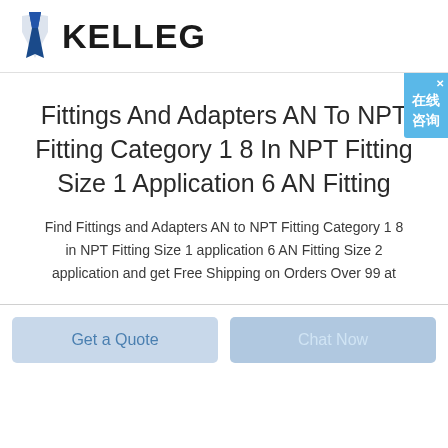KELLEG
Fittings And Adapters AN To NPT Fitting Category 1 8 In NPT Fitting Size 1 Application 6 AN Fitting
Find Fittings and Adapters AN to NPT Fitting Category 1 8 in NPT Fitting Size 1 application 6 AN Fitting Size 2 application and get Free Shipping on Orders Over 99 at
Get a Quote
Chat Now